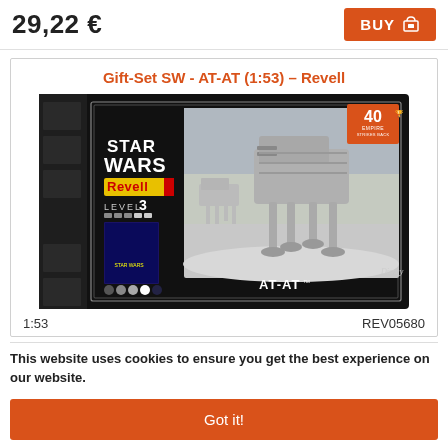29,22 €
BUY
Gift-Set SW - AT-AT (1:53) – Revell
[Figure (photo): Star Wars AT-AT model kit box (Revell, Level 3, 40th Empire Strikes Back anniversary edition). Box shows the AT-AT walker on a snowy battlefield. Includes Revell branding, Star Wars logo, Disney logo, and AT-AT label.]
1:53
REV05680
This website uses cookies to ensure you get the best experience on our website.
Learn more
Got it!